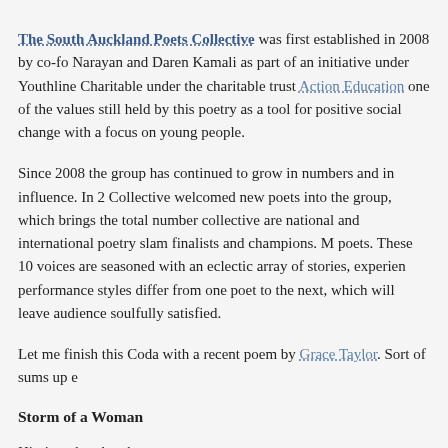The South Auckland Poets Collective was first established in 2008 by co-fo Narayan and Daren Kamali as part of an initiative under Youthline Charitable under the charitable trust Action Education one of the values still held by this poetry as a tool for positive social change with a focus on young people.
Since 2008 the group has continued to grow in numbers and in influence. In 2 Collective welcomed new poets into the group, which brings the total number collective are national and international poetry slam finalists and champions. M poets. These 10 voices are seasoned with an eclectic array of stories, experien performance styles differ from one poet to the next, which will leave audience soulfully satisfied.
Let me finish this Coda with a recent poem by Grace Taylor. Sort of sums up e
Storm of a Woman
Hissing glass laughs